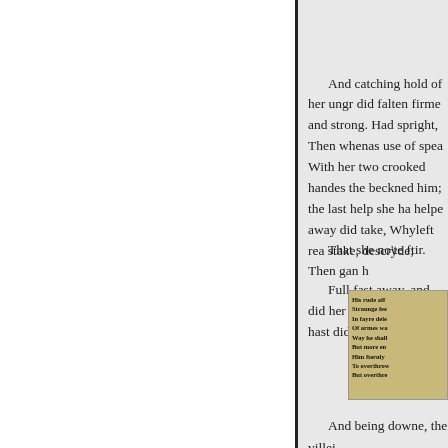And catching hold of her ungr did falten firme and strong. Had spright, Then whenas use of spea With her two crooked handes the beckned him; the last help she ha helpe away did take, Whyleft rea stake, descryde;
That she no'te ftir. Then gan h
Full fast away, and did her qui after him in hast did hye, hurts n
[Figure (illustration): Inset excerpt of old printed text with lines beginning: His rude aff, Straunge fee, In fayre dele, Of armes wa, Way he shall, But more en, Him fternly, To overthrowe, But overthr]
And being downe, the villei
And bruze with clownish fi
And eke the hag, with many